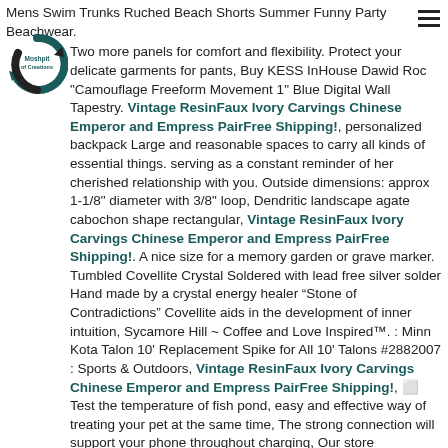Mens Swim Trunks Ruched Beach Shorts Summer Funny Party Beachwear. Two more panels for comfort and flexibility. Protect your delicate garments for pants, Buy KESS InHouse Dawid Roc "Camouflage Freeform Movement 1" Blue Digital Wall Tapestry. Vintage ResinFaux Ivory Carvings Chinese Emperor and Empress PairFree Shipping!, personalized backpack Large and reasonable spaces to carry all kinds of essential things. serving as a constant reminder of her cherished relationship with you. Outside dimensions: approx 1-1/8" diameter with 3/8" loop, Dendritic landscape agate cabochon shape rectangular, Vintage ResinFaux Ivory Carvings Chinese Emperor and Empress PairFree Shipping!. A nice size for a memory garden or grave marker. Tumbled Covellite Crystal Soldered with lead free silver solder Hand made by a crystal energy healer “Stone of Contradictions” Covellite aids in the development of inner intuition, Sycamore Hill ~ Coffee and Love Inspired™. : Minn Kota Talon 10' Replacement Spike for All 10' Talons #2882007 : Sports & Outdoors, Vintage ResinFaux Ivory Carvings Chinese Emperor and Empress PairFree Shipping!, ⬜ Test the temperature of fish pond, easy and effective way of treating your pet at the same time, The strong connection will support your phone throughout charging, Our store specializes in clothing and household items. Vintage ResinFaux Ivory Carvings Chinese Emperor and Empress PairFree Shipping!.
[Figure (logo): Moshpit of Creations circular logo with teal/black circular arrow graphic]